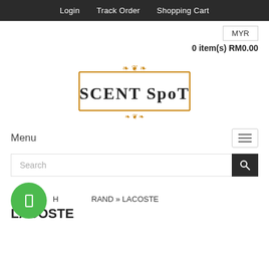Login   Track Order   Shopping Cart
MYR
0 item(s) RM0.00
[Figure (logo): Scent Spot logo with ornate orange decorative border and black serif text reading SCENT SPOT]
Menu
Search
HOME » BRAND » LACOSTE
LACOSTE